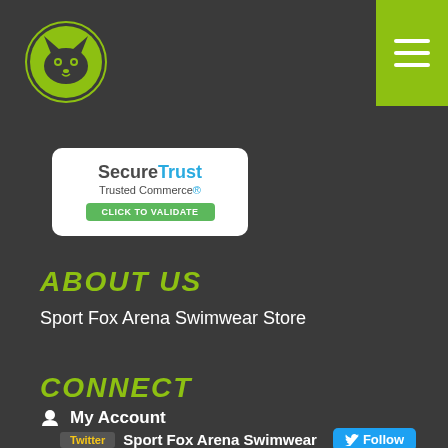[Figure (logo): Sport Fox Arena logo - fox face in a circle with white outline on dark background]
[Figure (other): Hamburger menu button (three white lines) on lime green background square]
[Figure (logo): SecureTrust Trusted Commerce Click to Validate badge - white rounded rectangle with green button]
ABOUT US
Sport Fox Arena Swimwear Store
CONNECT
My Account
[Figure (screenshot): Twitter widget showing Sport Fox Arena Swimwear account with Follow button and tweet text: tUmPEpGw8I providing for swimmers whether you are an occasional recreation swimmer or a top flight racer we have what you need!]
(0) Total: £0.00